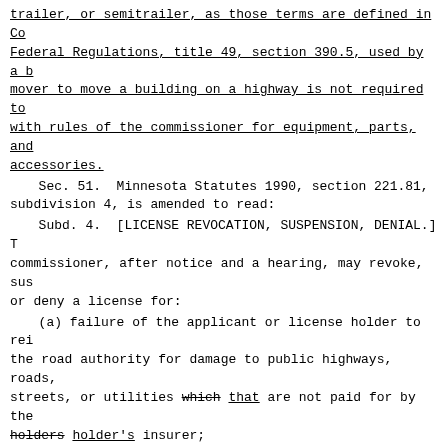trailer, or semitrailer, as those terms are defined in Code of Federal Regulations, title 49, section 390.5, used by a building mover to move a building on a highway is not required to comply with rules of the commissioner for equipment, parts, and accessories.
Sec. 51. Minnesota Statutes 1990, section 221.81, subdivision 4, is amended to read:
Subd. 4. [LICENSE REVOCATION, SUSPENSION, DENIAL.] The commissioner, after notice and a hearing, may revoke, suspend, or deny a license for:
(a) failure of the applicant or license holder to reimburse the road authority for damage to public highways, roads, streets, or utilities which that are not paid for by the holders holder's insurer;
(b) conduct of the applicant or license holders holder endangers the health and safety of users of the public highways, roads, streets, or utilities;
(c) conduct of the applicant or license holder that obstructs traffic in a manner other than as authorized in a permit;
(d) violation of the provisions of this section; or
(e) failure to obtain or comply with required local moving permits or permits required by section 169.86;
(f) placing or leaving a building on property without permission of the owner of the property or in violation